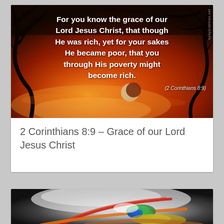[Figure (photo): Sunset/dusk sky with deep red and orange hues, silhouetted palm tree branches, and a crescent moon visible. White bold text overlaid with a Bible verse.]
For you know the grace of our Lord Jesus Christ, that though He was rich, yet for your sakes He became poor, that you through His poverty might become rich. (2 Corinthians 8:9)
2 Corinthians 8:9 – Grace of our Lord Jesus Christ
[Figure (photo): Abstract colorful swirling light streaks with red, green, blue, yellow, and white against a dark background.]